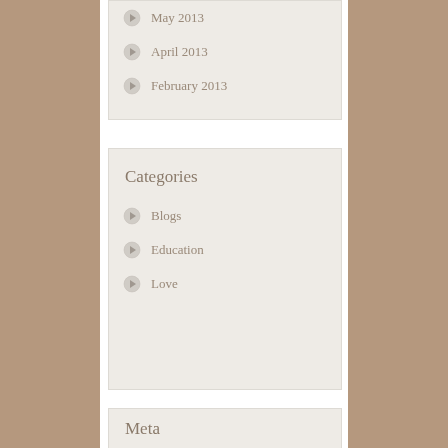May 2013
April 2013
February 2013
Categories
Blogs
Education
Love
Meta